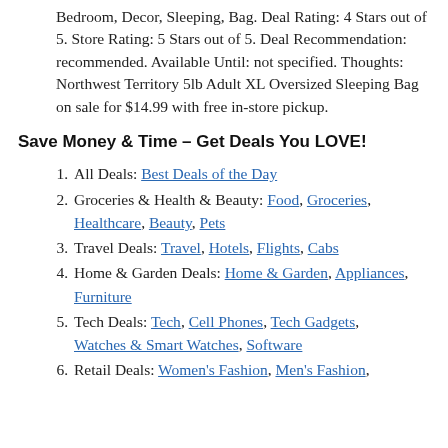Bedroom, Decor, Sleeping, Bag. Deal Rating: 4 Stars out of 5. Store Rating: 5 Stars out of 5. Deal Recommendation: recommended. Available Until: not specified. Thoughts: Northwest Territory 5lb Adult XL Oversized Sleeping Bag on sale for $14.99 with free in-store pickup.
Save Money & Time – Get Deals You LOVE!
All Deals: Best Deals of the Day
Groceries & Health & Beauty: Food, Groceries, Healthcare, Beauty, Pets
Travel Deals: Travel, Hotels, Flights, Cabs
Home & Garden Deals: Home & Garden, Appliances, Furniture
Tech Deals: Tech, Cell Phones, Tech Gadgets, Watches & Smart Watches, Software
Retail Deals: Women's Fashion, Men's Fashion,